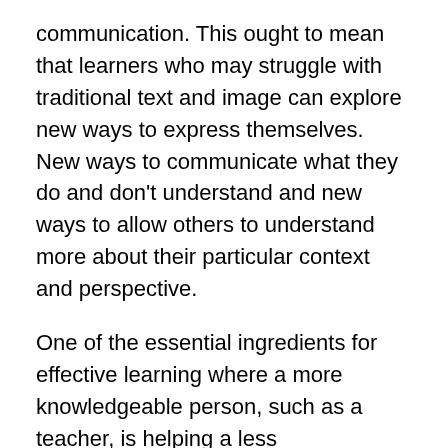communication. This ought to mean that learners who may struggle with traditional text and image can explore new ways to express themselves. New ways to communicate what they do and don't understand and new ways to allow others to understand more about their particular context and perspective.
One of the essential ingredients for effective learning where a more knowledgeable person, such as a teacher, is helping a less knowledgeable person (or people) to learn something is that both of them share some common understanding of what the less knowledgable person currently understands. The technical possibilities for multi modal communication offered by emerging technologies should provide new ways for people to share their understanding and misunderstanding and to communicate